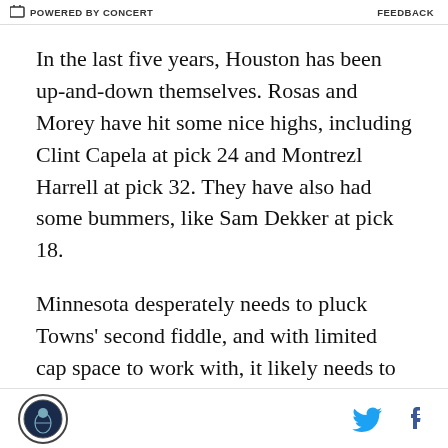POWERED BY CONCERT | FEEDBACK
In the last five years, Houston has been up-and-down themselves. Rosas and Morey have hit some nice highs, including Clint Capela at pick 24 and Montrezl Harrell at pick 32. They have also had some bummers, like Sam Dekker at pick 18.
Minnesota desperately needs to pluck Towns' second fiddle, and with limited cap space to work with, it likely needs to come through the draft. As it stands pre-lottery, they have the 10th pick in June, with an incoming rookie class that is said to be considerably more top-heavy than years prior.
With the draft entirely in his hands for the first time